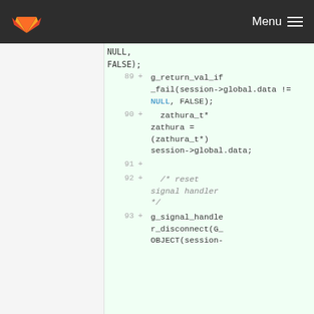GitLab Menu
NULL,
FALSE);
89 + g_return_val_if_fail(session->global.data != NULL, FALSE);
90 +   zathura_t* zathura = (zathura_t*) session->global.data;
91 +
92 +   /* reset signal handler */
93 + g_signal_handler_disconnect(G_OBJECT(session-